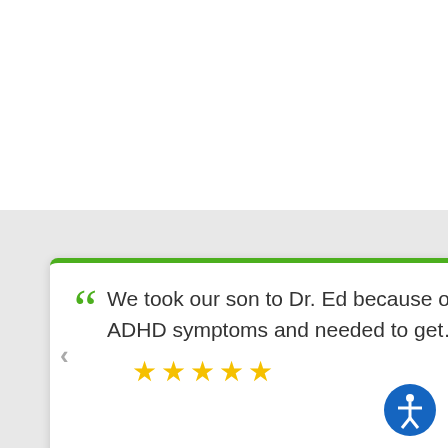[Figure (screenshot): A patient review card on a medical website. The card has a green top border, an opening quotation mark in green, and the review text: 'We took our son to Dr. Ed because our son's teacher thought he had ADHD symptoms and needed to get...' followed by five yellow stars. The reviewer is Kim E. with a 'view post' link featuring a Yelp logo, and a circular avatar placeholder. Navigation arrows appear on either side. An accessibility icon button appears in the bottom right.]